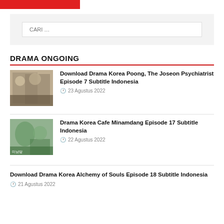[Figure (other): Red banner/logo bar at top]
CARI …
DRAMA ONGOING
Download Drama Korea Poong, The Joseon Psychiatrist Episode 7 Subtitle Indonesia
23 Agustus 2022
Drama Korea Cafe Minamdang Episode 17 Subtitle Indonesia
22 Agustus 2022
Download Drama Korea Alchemy of Souls Episode 18 Subtitle Indonesia
21 Agustus 2022